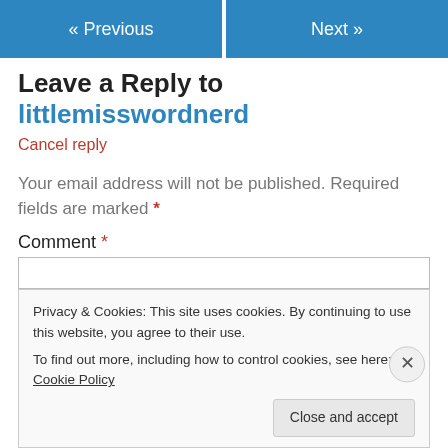« Previous   Next »
Leave a Reply to littlemisswordnerd
Cancel reply
Your email address will not be published. Required fields are marked *
Comment *
Privacy & Cookies: This site uses cookies. By continuing to use this website, you agree to their use.
To find out more, including how to control cookies, see here: Cookie Policy
Close and accept